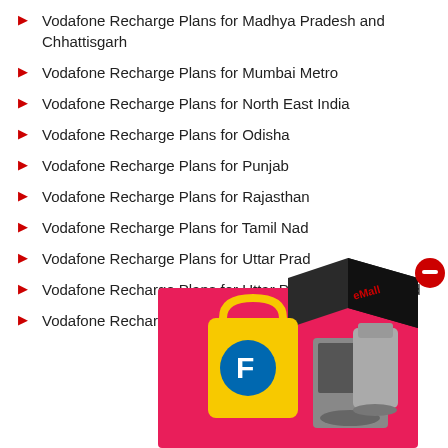Vodafone Recharge Plans for Madhya Pradesh and Chhattisgarh
Vodafone Recharge Plans for Mumbai Metro
Vodafone Recharge Plans for North East India
Vodafone Recharge Plans for Odisha
Vodafone Recharge Plans for Punjab
Vodafone Recharge Plans for Rajasthan
Vodafone Recharge Plans for Tamil Nadu
Vodafone Recharge Plans for Uttar Pradesh
Vodafone Recharge Plans for Uttar Pradesh Uttarakhand
Vodafone Recharge Plans for West Bengal
[Figure (illustration): Flipkart promotional advertisement box with shopping bag and appliances on a pink/red background with a black cube logo on top]